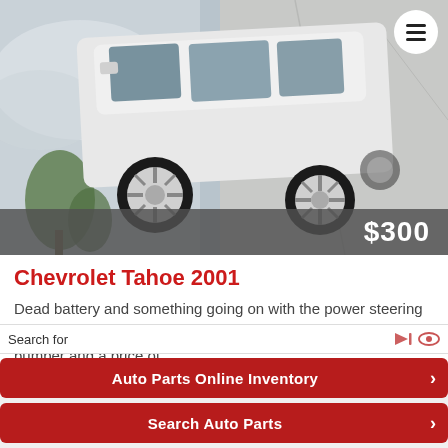[Figure (photo): Photo of a white Chevrolet Tahoe 2001 parked, photographed from an overhead/rotated angle showing the side and top of the vehicle. Background shows a concrete driveway and trees.]
Chevrolet Tahoe 2001
Dead battery and something going on with the power steering but other then that it runs perfect. Has a minor dent on back bumper and a price of...
Search for
Auto Parts Online Inventory
Search Auto Parts